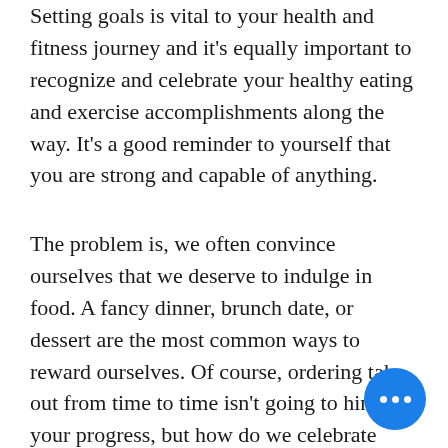Setting goals is vital to your health and fitness journey and it's equally important to recognize and celebrate your healthy eating and exercise accomplishments along the way. It's a good reminder to yourself that you are strong and capable of anything.
The problem is, we often convince ourselves that we deserve to indulge in food. A fancy dinner, brunch date, or dessert are the most common ways to reward ourselves. Of course, ordering take-out from time to time isn't going to hinder your progress, but how do we celebrate without involving food? Food rewards are counterintuitive when you're celebrating a milestone in your health and fitness journey.
[Figure (other): Blue circular floating action button with three white dots (ellipsis icon) in the bottom-right corner]